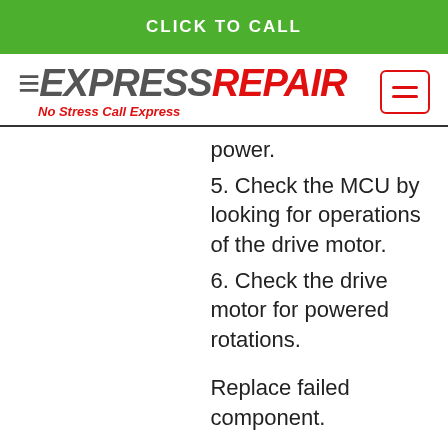CLICK TO CALL
[Figure (logo): Express Repair logo with tagline 'No Stress Call Express' and hamburger menu button]
power.
5. Check the MCU by looking for operations of the drive motor.
6. Check the drive motor for powered rotations.
Replace failed component.